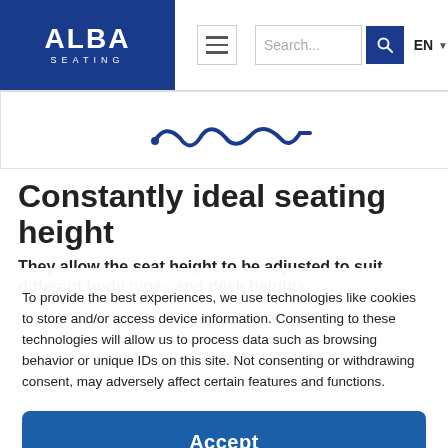ALBA SEATING | navigation bar with menu icon, search bar, EN language selector
[Figure (illustration): Decorative blue squiggly line icon representing seat adjustment mechanics]
Constantly ideal seating height
They allow the seat height to be adjusted to suit different body types and desk heights.
To provide the best experiences, we use technologies like cookies to store and/or access device information. Consenting to these technologies will allow us to process data such as browsing behavior or unique IDs on this site. Not consenting or withdrawing consent, may adversely affect certain features and functions.
Accept